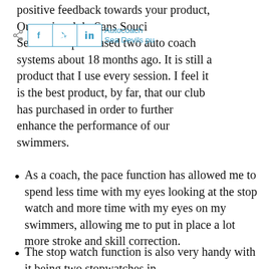positive feedback towards your product, Our swim club, Sans Souci Sea Devils purchased two auto coach systems about 18 months ago. It is still a product that I use every session. I feel it is the best product, by far, that our club has purchased in order to further enhance the performance of our swimmers.
[Figure (infographic): Social share buttons (Facebook, Twitter, LinkedIn) with share icon, overlaid on text area. Labels 'Autocoach' and 'Sea Devils pu' visible behind the buttons.]
As a coach, the pace function has allowed me to spend less time with my eyes looking at the stop watch and more time with my eyes on my swimmers, allowing me to put in place a lot more stroke and skill correction.
The stop watch function is also very handy with it being two stopwatches in